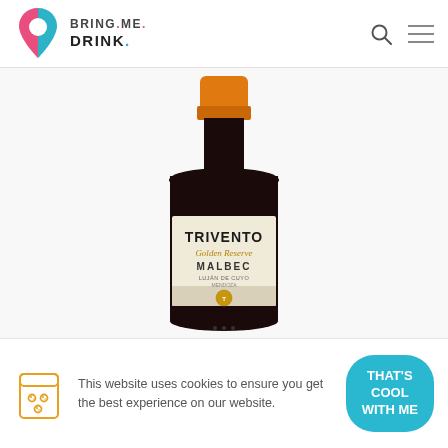BRING.ME. DRINK.
[Figure (photo): A bottle of Trivento Golden Reserve Malbec wine with an orange cap, dark glass bottle, and cream-colored label with gold lettering.]
This website uses cookies to ensure you get the best experience on our website.